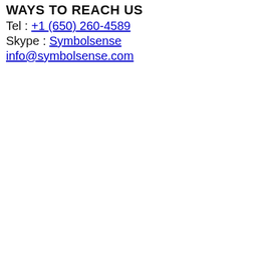WAYS TO REACH US
Tel : +1 (650) 260-4589
Skype : Symbolsense
info@symbolsense.com